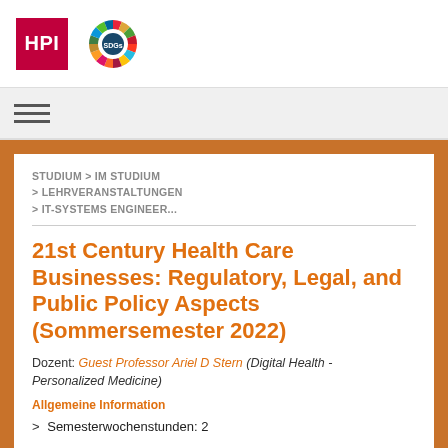[Figure (logo): HPI red square logo with white HPI text]
[Figure (logo): UN Sustainable Development Goals colorful wheel/circle logo]
[Figure (other): Hamburger menu icon with three horizontal lines]
STUDIUM > IM STUDIUM > LEHRVERANSTALTUNGEN > IT-SYSTEMS ENGINEER...
21st Century Health Care Businesses: Regulatory, Legal, and Public Policy Aspects (Sommersemester 2022)
Dozent: Guest Professor Ariel D Stern (Digital Health - Personalized Medicine)
Allgemeine Information
> Semesterwochenstunden: 2